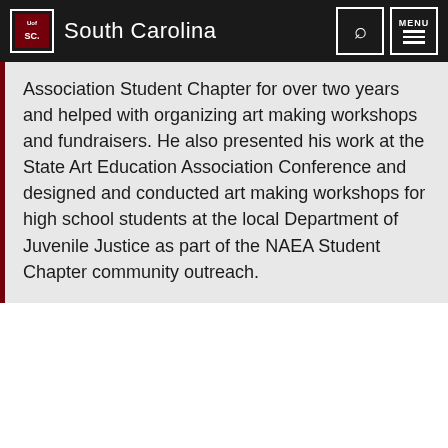University of South Carolina
Association Student Chapter for over two years and helped with organizing art making workshops and fundraisers. He also presented his work at the State Art Education Association Conference and designed and conducted art making workshops for high school students at the local Department of Juvenile Justice as part of the NAEA Student Chapter community outreach.
School of Visual Art and Design   Contact   Give   Calendar
South Carolina